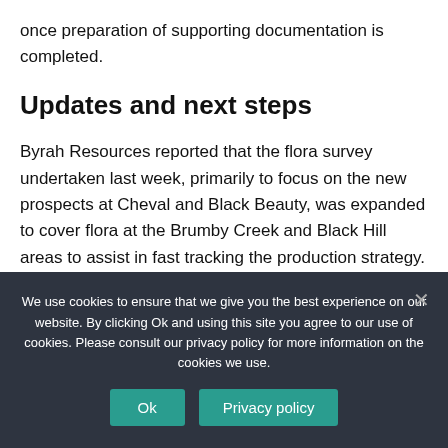once preparation of supporting documentation is completed.
Updates and next steps
Byrah Resources reported that the flora survey undertaken last week, primarily to focus on the new prospects at Cheval and Black Beauty, was expanded to cover flora at the Brumby Creek and Black Hill areas to assist in fast tracking the production strategy.
The company said that additional manganese sample
We use cookies to ensure that we give you the best experience on our website. By clicking Ok and using this site you agree to our use of cookies. Please consult our privacy policy for more information on the cookies we use.